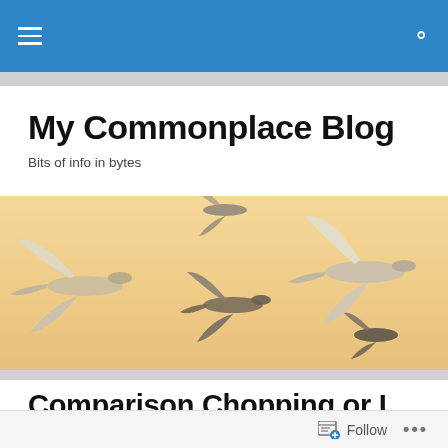Navigation bar with hamburger menu and search icon
My Commonplace Blog
Bits of info in bytes
[Figure (photo): Birds (geese/swans) flying against a warm golden-tan sky, silhouetted and backlit, banner/hero image for the blog]
Comparison Chopping or I Love the Smell of Lavender in the Afternoon
Follow  •••